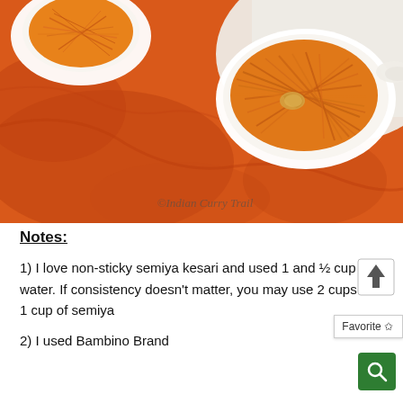[Figure (photo): Overhead photo of two white ceramic bowls filled with orange shredded semiya kesari (vermicelli dessert) with a cashew nut visible, placed on an orange cloth and white surface. Watermark reads ©Indian Curry Trail.]
Notes:
1) I love non-sticky semiya kesari and used 1 and ½ cup water. If consistency doesn't matter, you may use 2 cups for 1 cup of semiya
2) I used Bambino Brand